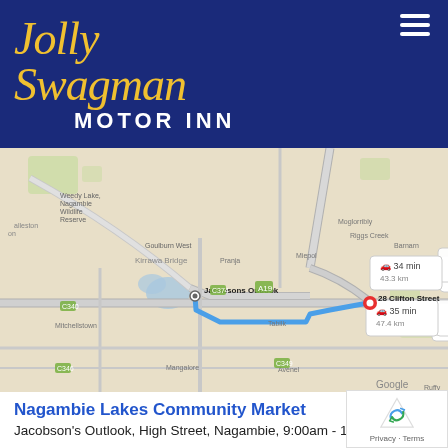[Figure (logo): Jolly Swagman Motor Inn logo — yellow cursive text 'Jolly Swagman' over white 'MOTOR INN' on dark navy blue header background, with hamburger menu icon top right]
[Figure (map): Google Maps screenshot showing route from Jacobsons Outlook to 28 Clifton Street, with two route options: 34 min / 43.3 km (upper grey road) and 35 min / 47.4 km (lower blue highlighted route). Blue route line visible. Red destination marker at 28 Clifton Street on right side.]
Nagambie Lakes Community Market
Jacobson's Outlook, High Street, Nagambie, 9:00am - 1...